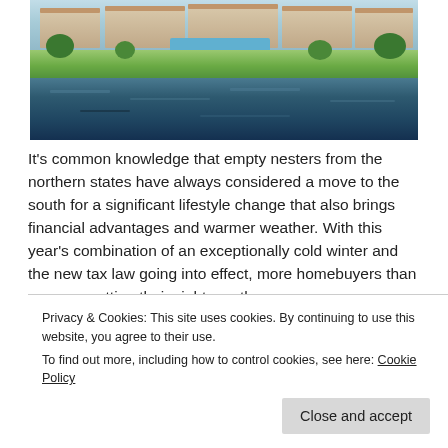[Figure (photo): Aerial or lakeside view of a luxury residential community with a pool, green lawn, and a blue lake or pond in the foreground, with buildings in the background.]
It's common knowledge that empty nesters from the northern states have always considered a move to the south for a significant lifestyle change that also brings financial advantages and warmer weather. With this year's combination of an exceptionally cold winter and the new tax law going into effect, more homebuyers than ever are setting their sights on the
Privacy & Cookies: This site uses cookies. By continuing to use this website, you agree to their use.
To find out more, including how to control cookies, see here: Cookie Policy
southern state settings that are well-known for their